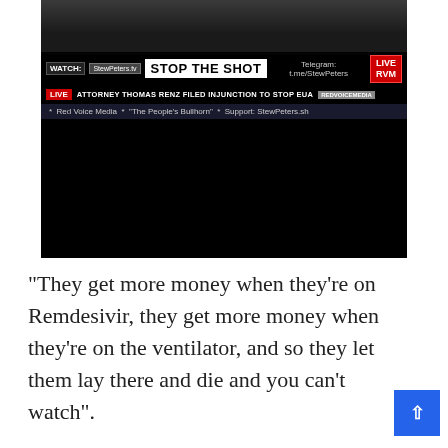[Figure (screenshot): Screenshot of a video player showing Stew Peters TV broadcast. Overlay text reads: WATCH: StewPeters.tv | STOP THE SHOT | Telegram: t.me/StewPeters | LIVE RVM (red badge). Lower ticker: LIVE - ATTORNEY THOMAS RENZ FILED INJUNCTION TO STOP EUA. Bottom bar: Red Voice Media * 'The People's Bullhorn' * Support: StewPeters.sh]
“They get more money when they’re on Remdesivir, they get more money when they’re on the ventilator, and so they let them lay there and die and you can’t watch”.